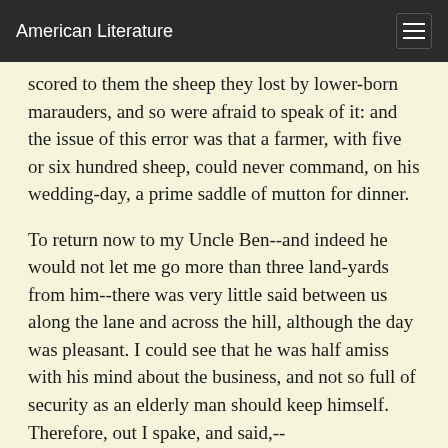American Literature
scored to them the sheep they lost by lower-born marauders, and so were afraid to speak of it: and the issue of this error was that a farmer, with five or six hundred sheep, could never command, on his wedding-day, a prime saddle of mutton for dinner.
To return now to my Uncle Ben--and indeed he would not let me go more than three land-yards from him--there was very little said between us along the lane and across the hill, although the day was pleasant. I could see that he was half amiss with his mind about the business, and not so full of security as an elderly man should keep himself. Therefore, out I spake, and said,--